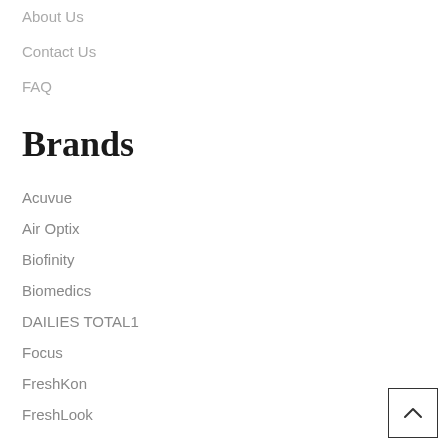About Us
Contact Us
FAQ
Brands
Acuvue
Air Optix
Biofinity
Biomedics
DAILIES TOTAL1
Focus
FreshKon
FreshLook